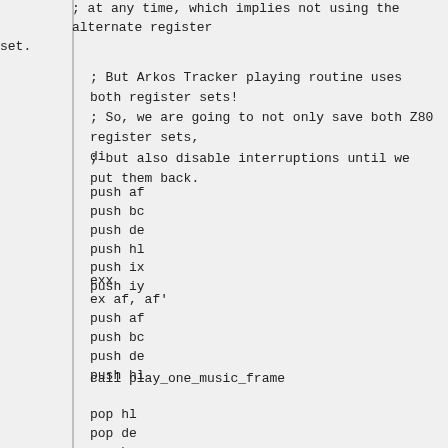; at any time, which implies not using the alternate register set.
; But Arkos Tracker playing routine uses both register sets!
; So, we are going to not only save both Z80 register sets,
; but also disable interruptions until we put them back.
di
push af
push bc
push de
push hl
push ix
push iy
exx
ex af, af'
push af
push bc
push de
push hl
call play_one_music_frame
pop hl
pop de
pop bc
pop af